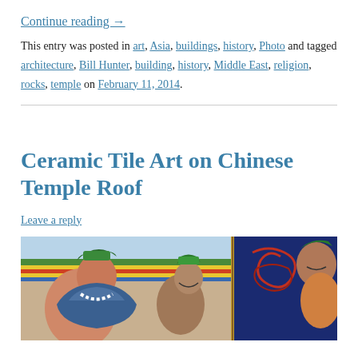Continue reading →
This entry was posted in art, Asia, buildings, history, Photo and tagged architecture, Bill Hunter, building, history, Middle East, religion, rocks, temple on February 11, 2014.
Ceramic Tile Art on Chinese Temple Roof
Leave a reply
[Figure (photo): Colorful ceramic tile art sculptures on a Chinese temple roof, showing elaborately decorated figures and ornaments in green, red, blue and other vivid colors.]